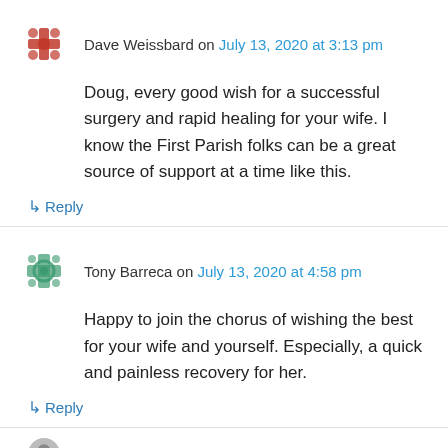Dave Weissbard on July 13, 2020 at 3:13 pm
Doug, every good wish for a successful surgery and rapid healing for your wife. I know the First Parish folks can be a great source of support at a time like this.
↳ Reply
Tony Barreca on July 13, 2020 at 4:58 pm
Happy to join the chorus of wishing the best for your wife and yourself. Especially, a quick and painless recovery for her.
↳ Reply